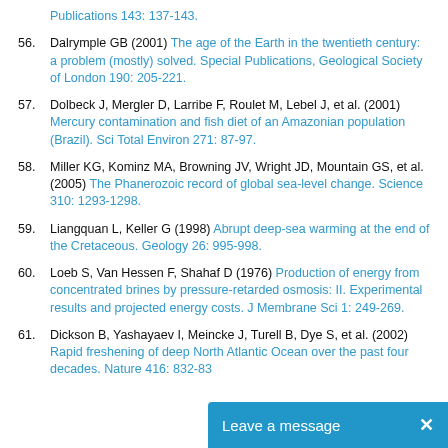Publications 143: 137-143.
56. Dalrymple GB (2001) The age of the Earth in the twentieth century: a problem (mostly) solved. Special Publications, Geological Society of London 190: 205-221.
57. Dolbeck J, Mergler D, Larribe F, Roulet M, Lebel J, et al. (2001) Mercury contamination and fish diet of an Amazonian population (Brazil). Sci Total Environ 271: 87-97.
58. Miller KG, Kominz MA, Browning JV, Wright JD, Mountain GS, et al. (2005) The Phanerozoic record of global sea-level change. Science 310: 1293-1298.
59. Liangquan L, Keller G (1998) Abrupt deep-sea warming at the end of the Cretaceous. Geology 26: 995-998.
60. Loeb S, Van Hessen F, Shahaf D (1976) Production of energy from concentrated brines by pressure-retarded osmosis: II. Experimental results and projected energy costs. J Membrane Sci 1: 249-269.
61. Dickson B, Yashayaev I, Meincke J, Turell B, Dye S, et al. (2002) Rapid freshening of deep North Atlantic Ocean over the past four decades. Nature 416: 832-83[truncated]